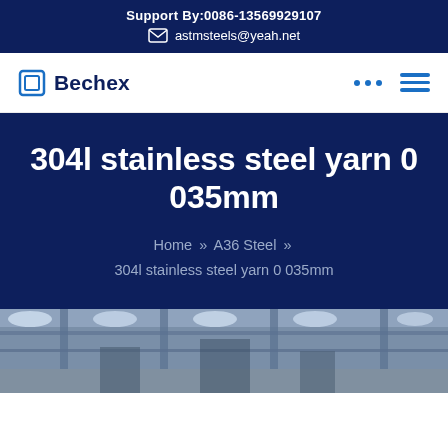Support By:0086-13569929107
astmsteels@yeah.net
Bechex
304l stainless steel yarn 0 035mm
Home » A36 Steel » 304l stainless steel yarn 0 035mm
[Figure (photo): Factory interior showing industrial steel structure with lighting]